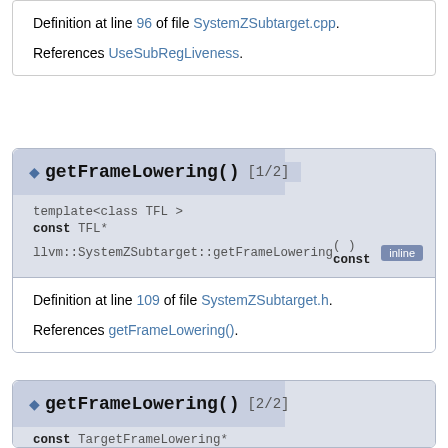Definition at line 96 of file SystemZSubtarget.cpp.
References UseSubRegLiveness.
◆ getFrameLowering() [1/2]
template<class TFL >
const TFL*
llvm::SystemZSubtarget::getFrameLowering ( ) const inline
Definition at line 109 of file SystemZSubtarget.h.
References getFrameLowering().
◆ getFrameLowering() [2/2]
const TargetFrameLowering*